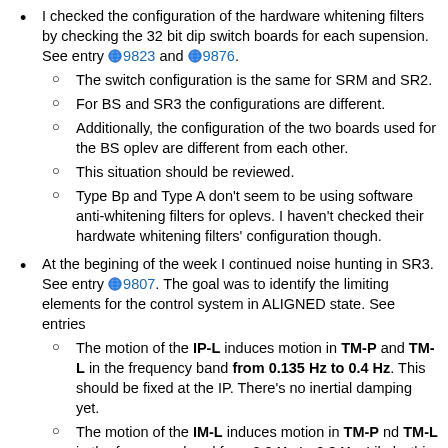I checked the configuration of the hardware whitening filters by checking the 32 bit dip switch boards for each supension. See entry 9823 and 9876.
The switch configuration is the same for SRM and SR2.
For BS and SR3 the configurations are different.
Additionally, the configuration of the two boards used for the BS oplev are different from each other.
This situation should be reviewed.
Type Bp and Type A don't seem to be using software anti-whitening filters for oplevs. I haven't checked their hardwate whitening filters' configuration though.
At the begining of the week I continued noise hunting in SR3. See entry 9807. The goal was to identify the limiting elements for the control system in ALIGNED state. See entries
The motion of the IP-L induces motion in TM-P and TM-L in the frequency band from 0.135 Hz to 0.4 Hz. This should be fixed at the IP. There's no inertial damping yet.
The motion of the IM-L induces motion in TM-P nd TM-L in the frequency band from 0.3 Hz to 0.8 Hz. Likely, this should be fixed with IML2TMP and IML2TML control filters.